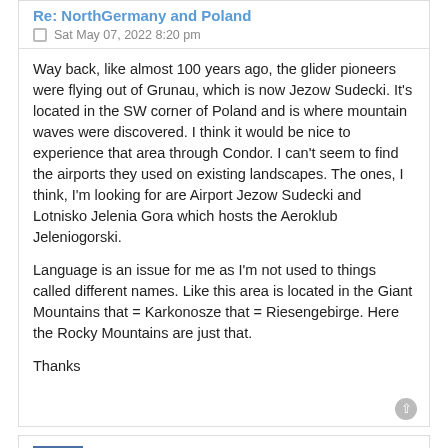Re: NorthGermany and Poland
Sat May 07, 2022 8:20 pm
Way back, like almost 100 years ago, the glider pioneers were flying out of Grunau, which is now Jezow Sudecki. It's located in the SW corner of Poland and is where mountain waves were discovered. I think it would be nice to experience that area through Condor. I can't seem to find the airports they used on existing landscapes. The ones, I think, I'm looking for are Airport Jezow Sudecki and Lotnisko Jelenia Gora which hosts the Aeroklub Jeleniogorski.
Language is an issue for me as I'm not used to things called different names. Like this area is located in the Giant Mountains that = Karkonosze that = Riesengebirge. Here the Rocky Mountains are just that.
Thanks
maymar
Re: NorthGermany and Poland